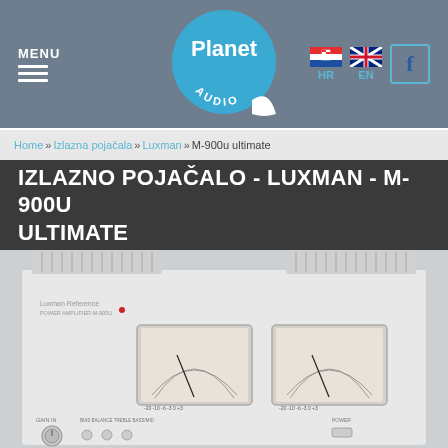MENU | Planet Audio | HR | EN | Facebook
Home » Izlazna pojačala » Luxman » M-900u ultimate
IZLAZNO POJAČALO - LUXMAN - M-900U ULTIMATE
[Figure (photo): Luxman M-900U Ultimate power amplifier in silver/white finish, front panel showing two large VU meters, control knobs and switches, with heat sinks visible on top.]